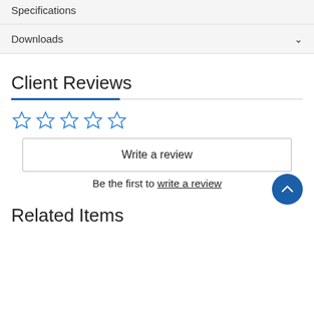Specifications
Downloads
Client Reviews
[Figure (other): Five empty star rating icons in blue outline]
Write a review
Be the first to write a review
Related Items